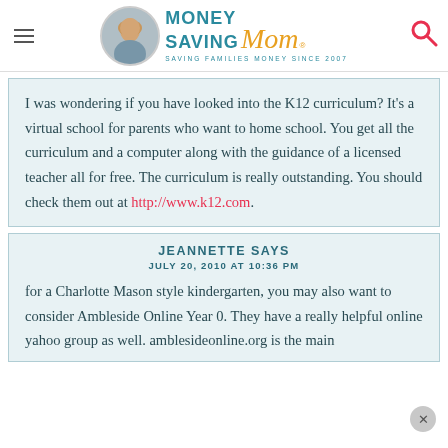MoneySavingMom® — SAVING FAMILIES MONEY SINCE 2007
I was wondering if you have looked into the K12 curriculum? It's a virtual school for parents who want to home school. You get all the curriculum and a computer along with the guidance of a licensed teacher all for free. The curriculum is really outstanding. You should check them out at http://www.k12.com.
JEANNETTE SAYS
JULY 20, 2010 AT 10:36 PM
for a Charlotte Mason style kindergarten, you may also want to consider Ambleside Online Year 0. They have a really helpful online yahoo group as well. amblesideonline.org is the main